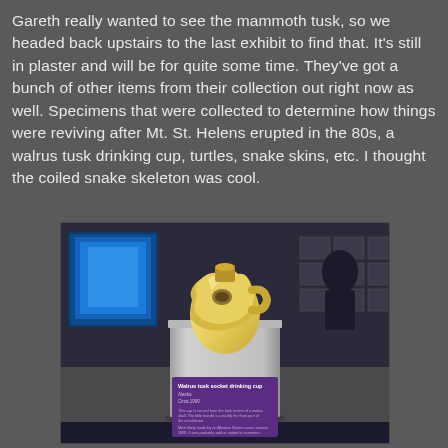Gareth really wanted to see the mammoth tusk, so we headed back upstairs to the last exhibit to find that. It's still in plaster and will be for quite some time. They've got a bunch of other items from their collection out right now as well. Specimens that were collected to determine how things were reviving after Mt. St. Helens erupted in the 80s, a walrus tusk drinking cup, turtles, snake skins, etc. I thought the coiled snake skeleton was cool.
[Figure (photo): Museum exhibit photo showing a walrus tusk socket drinking cup displayed on a white pedestal in a dimly lit museum exhibit hall. A purple label placard at the bottom reads 'Walrus tusk socket drinking cup, Alaska, Circa 1900' with descriptive text. Blue display cases visible in background.]